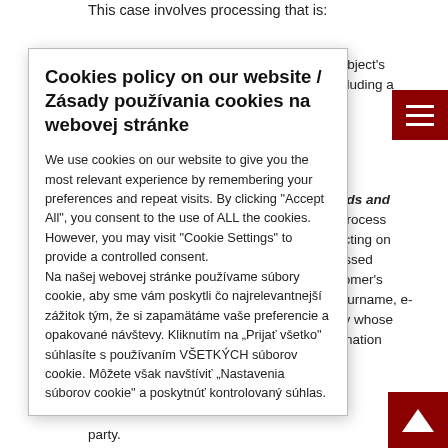This case involves processing that is:
ta subject's concluding a
records and we process ns acting on xpressed customer's ne, surname, e- entity whose nformation
ximum
e existing s
ontract, to which s a contractual
[Figure (screenshot): Cookie policy popup overlay with title 'Cookies policy on our website / Zásady používania cookies na webovej stránke' and cookie consent text in English and Slovak]
[Figure (other): Dark red hamburger menu button with three white horizontal lines]
[Figure (other): Dark red scroll-to-top button with white triangle/arrow pointing up]
party.